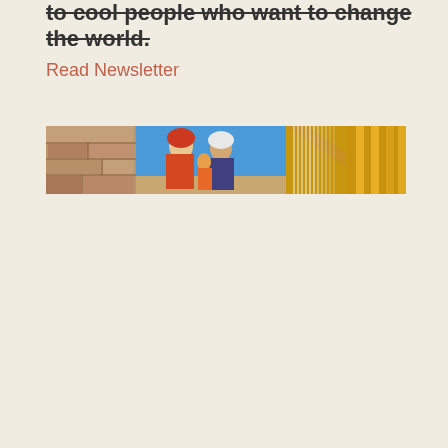to cool people who want to change the world.
Read Newsletter
[Figure (photo): Horizontal banner image comprising two panels: on the left a stone wall with two women in colorful traditional dress under a bright blue sky; on the right a close-up of white fiber strands on a golden/wooden loom or frame.]